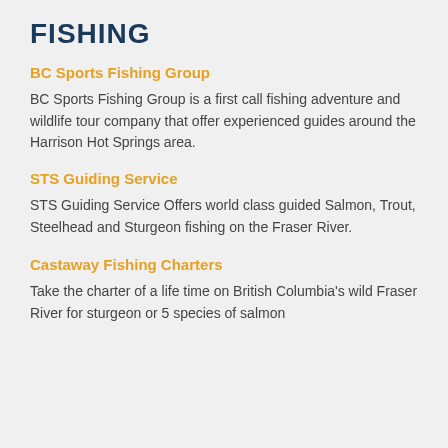FISHING
BC Sports Fishing Group
BC Sports Fishing Group is a first call fishing adventure and wildlife tour company that offer experienced guides around the Harrison Hot Springs area.
STS Guiding Service
STS Guiding Service Offers world class guided Salmon, Trout, Steelhead and Sturgeon fishing on the Fraser River.
Castaway Fishing Charters
Take the charter of a life time on British Columbia's wild Fraser River for sturgeon or 5 species of salmon